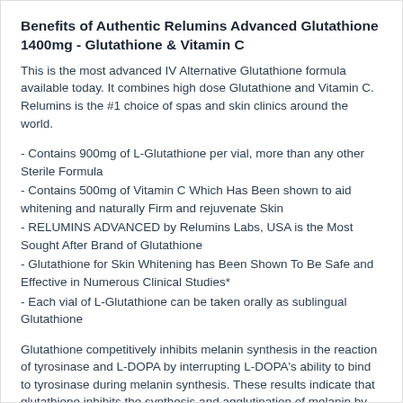Benefits of Authentic Relumins Advanced Glutathione 1400mg - Glutathione & Vitamin C
This is the most advanced IV Alternative Glutathione formula available today. It combines high dose Glutathione and Vitamin C. Relumins is the #1 choice of spas and skin clinics around the world.
- Contains 900mg of L-Glutathione per vial, more than any other Sterile Formula
- Contains 500mg of Vitamin C Which Has Been shown to aid whitening and naturally Firm and rejuvenate Skin
- RELUMINS ADVANCED by Relumins Labs, USA is the Most Sought After Brand of Glutathione
- Glutathione for Skin Whitening has Been Shown To Be Safe and Effective in Numerous Clinical Studies*
- Each vial of L-Glutathione can be taken orally as sublingual Glutathione
Glutathione competitively inhibits melanin synthesis in the reaction of tyrosinase and L-DOPA by interrupting L-DOPA's ability to bind to tyrosinase during melanin synthesis. These results indicate that glutathione inhibits the synthesis and agglutination of melanin by interrupting the function of L-DOPA.
Glutathione